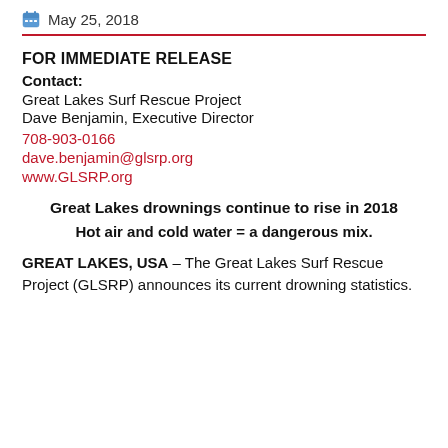May 25, 2018
FOR IMMEDIATE RELEASE
Contact:
Great Lakes Surf Rescue Project
Dave Benjamin, Executive Director
708-903-0166
dave.benjamin@glsrp.org
www.GLSRP.org
Great Lakes drownings continue to rise in 2018
Hot air and cold water = a dangerous mix.
GREAT LAKES, USA – The Great Lakes Surf Rescue Project (GLSRP) announces its current drowning statistics.